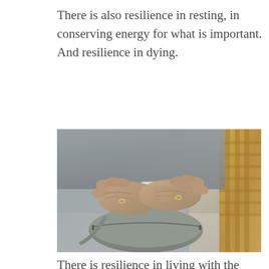There is also resilience in resting, in conserving energy for what is important. And resilience in dying.
[Figure (photo): Close-up photograph of elderly person's hands holding a small card over a gray leather purse/handbag, with a wicker chair visible in the background]
There is resilience in living with the cognitive changes of dementia. As a person sees the world differently through the experience of dementia,